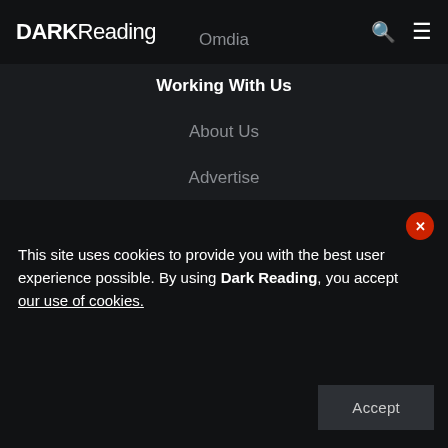DARK Reading
Omdia
Working With Us
About Us
Advertise
Reprints
This site uses cookies to provide you with the best user experience possible. By using Dark Reading, you accept our use of cookies.